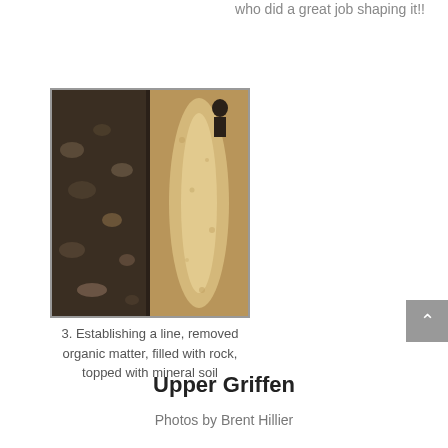who did a great job shaping it!!
[Figure (photo): Two-panel photo showing trail construction: left side shows dark rocky soil excavation, right side shows the trail filled with light-colored mineral soil/gravel with a worker visible in background]
3. Establishing a line, removed organic matter, filled with rock, topped with mineral soil
Upper Griffen
Photos by Brent Hillier